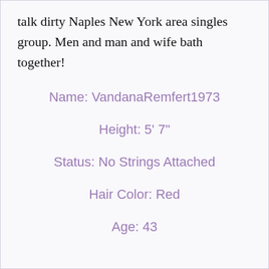talk dirty Naples New York area singles group. Men and man and wife bath together!
Name: VandanaRemfert1973
Height: 5' 7"
Status: No Strings Attached
Hair Color: Red
Age: 43